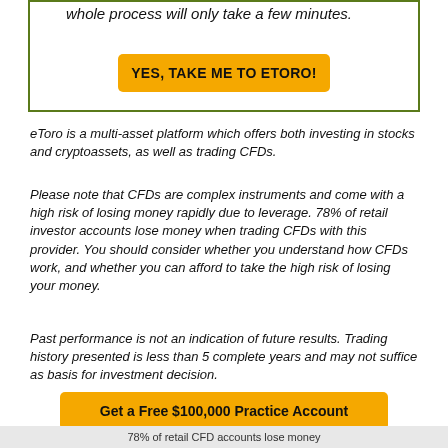whole process will only take a few minutes.
[Figure (other): Yellow CTA button: YES, TAKE ME TO ETORO!]
eToro is a multi-asset platform which offers both investing in stocks and cryptoassets, as well as trading CFDs.
Please note that CFDs are complex instruments and come with a high risk of losing money rapidly due to leverage. 78% of retail investor accounts lose money when trading CFDs with this provider. You should consider whether you understand how CFDs work, and whether you can afford to take the high risk of losing your money.
Past performance is not an indication of future results. Trading history presented is less than 5 complete years and may not suffice as basis for investment decision.
[Figure (other): Yellow CTA button: Get a Free $100,000 Practice Account]
78% of retail CFD accounts lose money